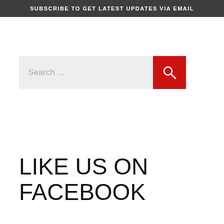SUBSCRIBE TO GET LATEST UPDATES VIA EMAIL
[Figure (screenshot): Search input field with placeholder text 'Search ...' and a red search button with magnifying glass icon]
LIKE US ON FACEBOOK